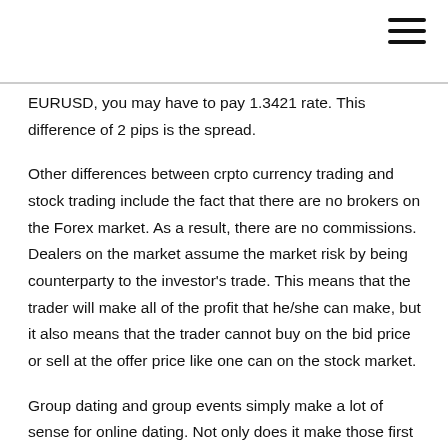EURUSD, you may have to pay 1.3421 rate. This difference of 2 pips is the spread.
Other differences between crpto currency trading and stock trading include the fact that there are no brokers on the Forex market. As a result, there are no commissions. Dealers on the market assume the market risk by being counterparty to the investor's trade. This means that the trader will make all of the profit that he/she can make, but it also means that the trader cannot buy on the bid price or sell at the offer price like one can on the stock market.
Group dating and group events simply make a lot of sense for online dating. Not only does it make those first dates less stressful, it often makes them more fun, and it definitely makes